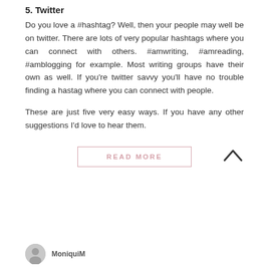5. Twitter
Do you love a #hashtag? Well, then your people may well be on twitter. There are lots of very popular hashtags where you can connect with others. #amwriting, #amreading, #amblogging for example. Most writing groups have their own as well. If you're twitter savvy you'll have no trouble finding a hastag where you can connect with people.
These are just five very easy ways. If you have any other suggestions I'd love to hear them.
READ MORE
MoniquiM